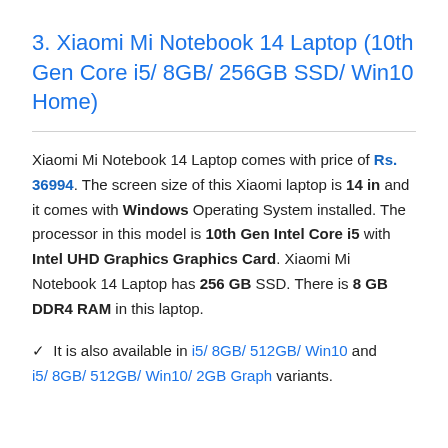3. Xiaomi Mi Notebook 14 Laptop (10th Gen Core i5/ 8GB/ 256GB SSD/ Win10 Home)
Xiaomi Mi Notebook 14 Laptop comes with price of Rs. 36994. The screen size of this Xiaomi laptop is 14 in and it comes with Windows Operating System installed. The processor in this model is 10th Gen Intel Core i5 with Intel UHD Graphics Graphics Card. Xiaomi Mi Notebook 14 Laptop has 256 GB SSD. There is 8 GB DDR4 RAM in this laptop.
✓ It is also available in i5/ 8GB/ 512GB/ Win10 and i5/ 8GB/ 512GB/ Win10/ 2GB Graph variants.